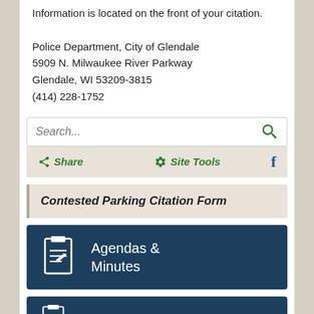Information is located on the front of your citation.

Police Department, City of Glendale
5909 N. Milwaukee River Parkway
Glendale, WI 53209-3815
(414) 228-1752
Search...
Share   Site Tools   f
Contested Parking Citation Form
Agendas & Minutes